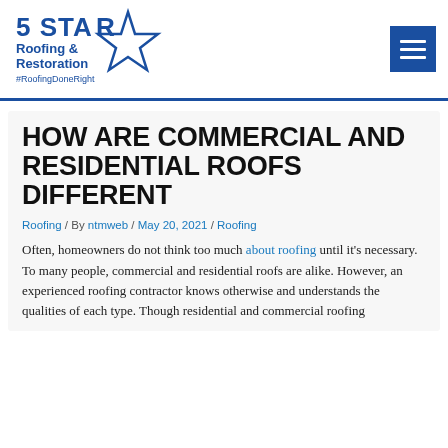[Figure (logo): 5 STAR Roofing & Restoration logo with star graphic and #RoofingDoneRight tagline in blue]
HOW ARE COMMERCIAL AND RESIDENTIAL ROOFS DIFFERENT
Roofing / By ntmweb / May 20, 2021 / Roofing
Often, homeowners do not think too much about roofing until it's necessary. To many people, commercial and residential roofs are alike. However, an experienced roofing contractor knows otherwise and understands the qualities of each type. Though residential and commercial roofing